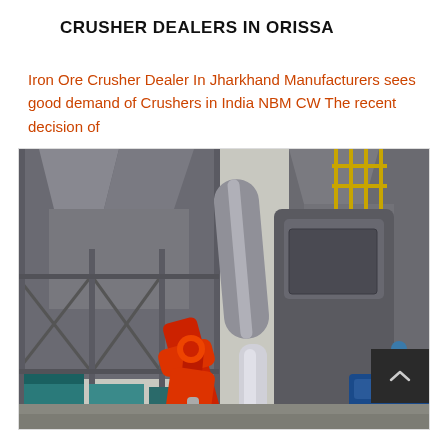CRUSHER DEALERS IN ORISSA
Iron Ore Crusher Dealer In Jharkhand Manufacturers sees good demand of Crushers in India NBM CW The recent decision of
[Figure (photo): Industrial ore crusher facility showing large grey metal hoppers and conveyors, with a red hydraulic arm mechanism in the foreground, and yellow safety railings visible on upper levels. Blue machinery visible at lower sides.]